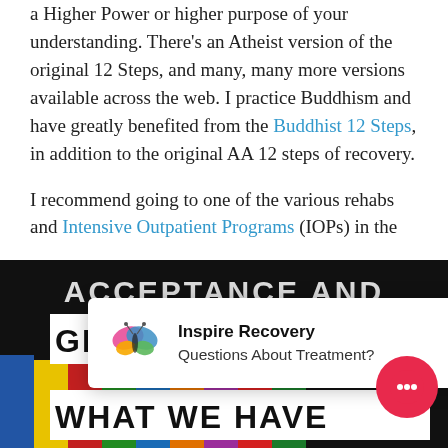a Higher Power or higher purpose of your understanding. There's an Atheist version of the original 12 Steps, and many, many more versions available across the web. I practice Buddhism and have greatly benefited from the Buddhist 12 Steps, in addition to the original AA 12 steps of recovery.
I recommend going to one of the various rehabs and Intensive Outpatient Programs (IOPs) in the count[ry that cater to the LGBTQIA+ community]
[Figure (screenshot): Inspire Recovery notification popup with butterfly logo, title 'Inspire Recovery' and subtitle 'Questions About Treatment?']
[Figure (photo): Dark image with colorful crayons and white text bands reading 'GRATITUDE TU[RNS]' and 'WHAT WE HAVE']